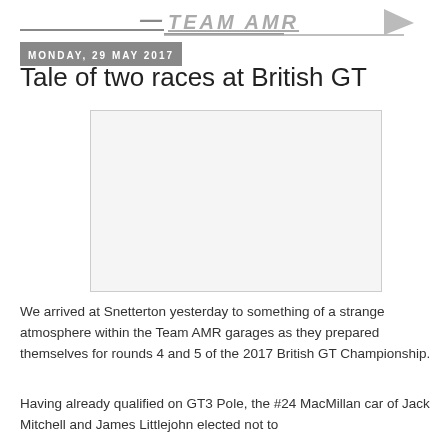[Logo image — stylized text]
Monday, 29 May 2017
Tale of two races at British GT
[Figure (photo): Placeholder image box (white/light gray rectangle with border)]
We arrived at Snetterton yesterday to something of a strange atmosphere within the Team AMR garages as they prepared themselves for rounds 4 and 5 of the 2017 British GT Championship.
Having already qualified on GT3 Pole, the #24 MacMillan car of Jack Mitchell and James Littlejohn elected not to